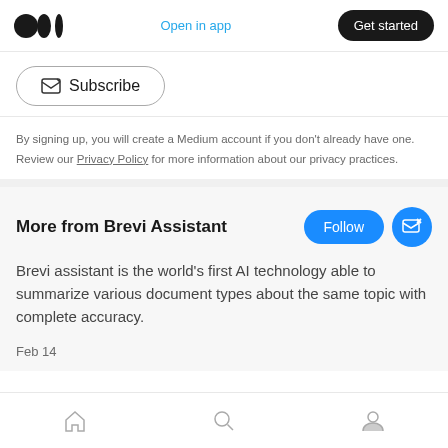Medium logo | Open in app | Get started
Subscribe
By signing up, you will create a Medium account if you don't already have one. Review our Privacy Policy for more information about our privacy practices.
More from Brevi Assistant
Brevi assistant is the world's first AI technology able to summarize various document types about the same topic with complete accuracy.
Feb 14
Home | Search | Profile